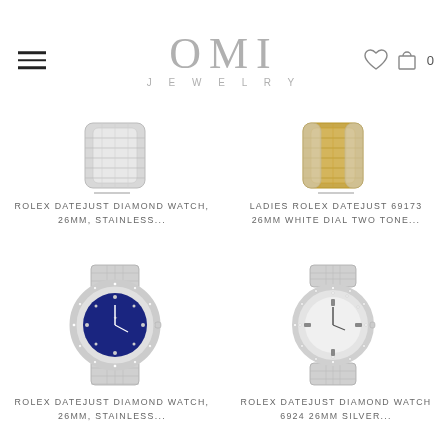[Figure (logo): OMI JEWELRY logo with hamburger menu, heart and cart icons]
[Figure (photo): Rolex Datejust Diamond Watch bracelet, top view, stainless steel]
ROLEX DATEJUST DIAMOND WATCH, 26MM, STAINLESS...
[Figure (photo): Ladies Rolex Datejust 69173 bracelet, top view, two tone gold and steel]
LADIES ROLEX DATEJUST 69173 26MM WHITE DIAL TWO TONE...
[Figure (photo): Rolex Datejust Diamond Watch, 26mm, stainless steel jubilee bracelet, blue diamond dial]
ROLEX DATEJUST DIAMOND WATCH, 26MM, STAINLESS...
[Figure (photo): Rolex Datejust Diamond Watch 6924 26MM silver dial, stainless steel jubilee bracelet]
ROLEX DATEJUST DIAMOND WATCH 6924 26MM SILVER...